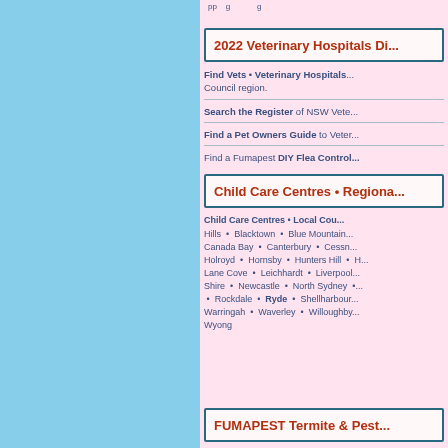pp g g
2022 Veterinary Hospitals Di...
Find Vets • Veterinary Hospitals... Council region.
Search the Register of NSW Vete...
Find a Pet Owners Guide to Veter...
Find a Fumapest DIY Flea Control...
Child Care Centres • Regiona...
Child Care Centres • Local Cou... Hills • Blacktown • Blue Mountain... Canada Bay • Canterbury • Cessn... Holroyd • Hornsby • Hunters Hill • H... Lane Cove • Leichhardt • Liverpool... Shire • Newcastle • North Sydney •... • Rockdale • Ryde • Shellharbour... Warringah • Waverley • Willoughby... Wyong
FUMAPEST Termite & Pest...